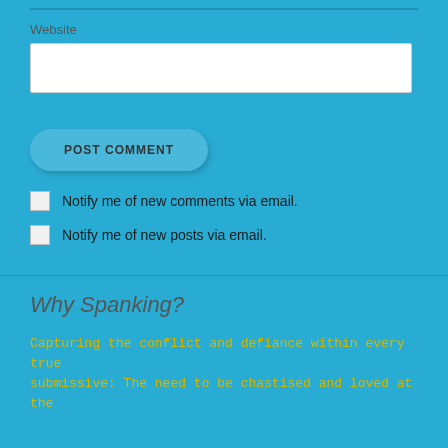Website
[Figure (other): Text input field for Website URL]
[Figure (other): POST COMMENT button]
Notify me of new comments via email.
Notify me of new posts via email.
Why Spanking?
Capturing the conflict and defiance within every true submissive: The need to be chastised and loved at the